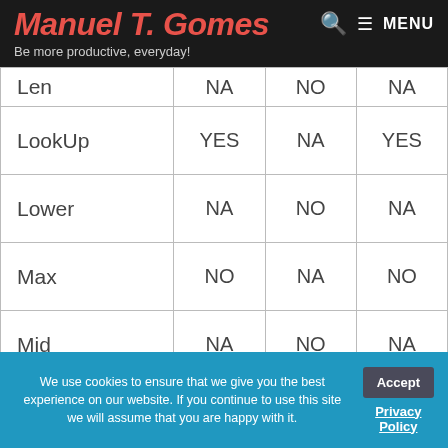Manuel T. Gomes — Be more productive, everyday!
| Len | NA | NO | NA |
| LookUp | YES | NA | YES |
| Lower | NA | NO | NA |
| Max | NO | NA | NO |
| Mid | NA | NO | NA |
| Min | NO | NA | NO |
| Not | YES | YES | YES |
| Now() | NA | NA | NO |
We use cookies to ensure that we give you the best experience on our website. If you continue to use this site we will assume that you are happy with it.